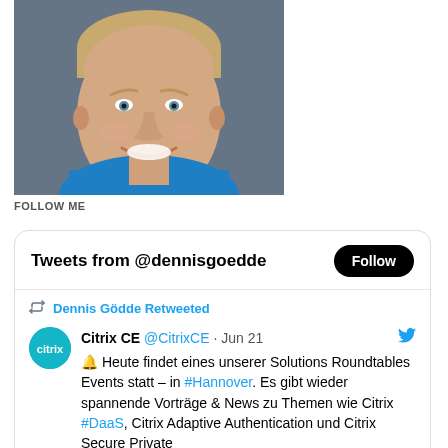[Figure (photo): Headshot of a young man with blonde hair, blue eyes, smiling, wearing a blue shirt, against a gray background]
FOLLOW ME
Tweets from @dennisgoedde
Follow
Dennis Gödde Retweeted
Citrix CE @CitrixCE · Jun 21
🔔 Heute findet eines unserer Solutions Roundtables Events statt – in #Hannover. Es gibt wieder spannende Vorträge & News zu Themen wie Citrix #DaaS, Citrix Adaptive Authentication und Citrix Secure Private